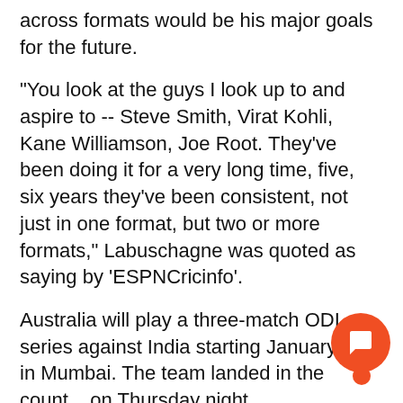across formats would be his major goals for the future.
"You look at the guys I look up to and aspire to -- Steve Smith, Virat Kohli, Kane Williamson, Joe Root. They've been doing it for a very long time, five, six years they've been consistent, not just in one format, but two or more formats," Labuschagne was quoted as saying by 'ESPNCricinfo'.
Australia will play a three-match ODI series against India starting January 14 in Mumbai. The team landed in the country on Thursday night.
"  I've had some success this summer but